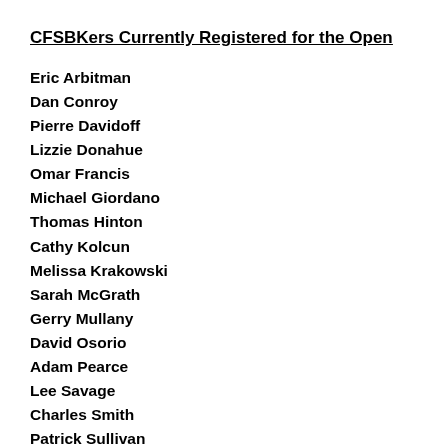CFSBKers Currently Registered for the Open
Eric Arbitman
Dan Conroy
Pierre Davidoff
Lizzie Donahue
Omar Francis
Michael Giordano
Thomas Hinton
Cathy Kolcun
Melissa Krakowski
Sarah McGrath
Gerry Mullany
David Osorio
Adam Pearce
Lee Savage
Charles Smith
Patrick Sullivan